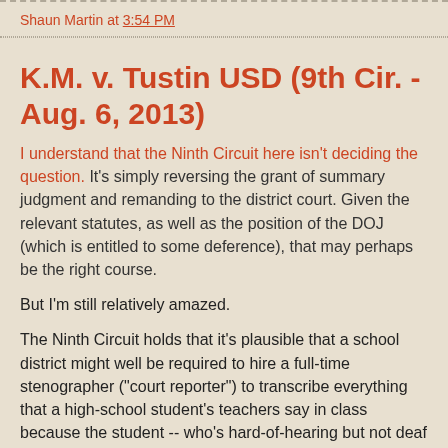Shaun Martin at 3:54 PM
K.M. v. Tustin USD (9th Cir. - Aug. 6, 2013)
I understand that the Ninth Circuit here isn't deciding the question. It's simply reversing the grant of summary judgment and remanding to the district court. Given the relevant statutes, as well as the position of the DOJ (which is entitled to some deference), that may perhaps be the right course.
But I'm still relatively amazed.
The Ninth Circuit holds that it's plausible that a school district might well be required to hire a full-time stenographer ("court reporter") to transcribe everything that a high-school student's teachers say in class because the student -- who's hard-of-hearing but not deaf -- finds it "difficult to